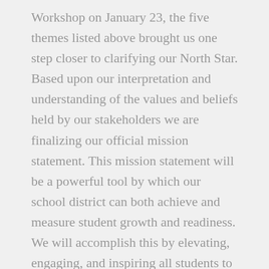Workshop on January 23, the five themes listed above brought us one step closer to clarifying our North Star. Based upon our interpretation and understanding of the values and beliefs held by our stakeholders we are finalizing our official mission statement. This mission statement will be a powerful tool by which our school district can both achieve and measure student growth and readiness. We will accomplish this by elevating, engaging, and inspiring all students to succeed now and in the future and are committed to providing unique and differentiated experiences that ensure all students achieve their fullest potential.
The Board of Education expects to formally